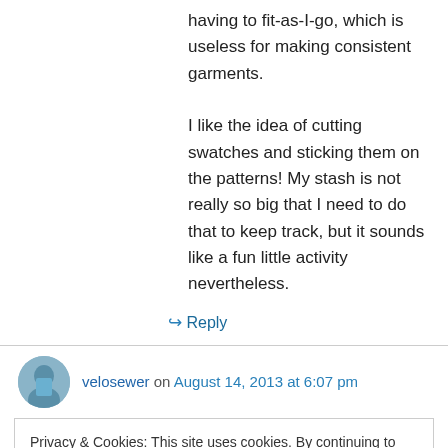having to fit-as-I-go, which is useless for making consistent garments.

I like the idea of cutting swatches and sticking them on the patterns! My stash is not really so big that I need to do that to keep track, but it sounds like a fun little activity nevertheless.
↳ Reply
velosewer on August 14, 2013 at 6:07 pm
Privacy & Cookies: This site uses cookies. By continuing to use this website, you agree to their use.
To find out more, including how to control cookies, see here: Cookie Policy
Close and accept